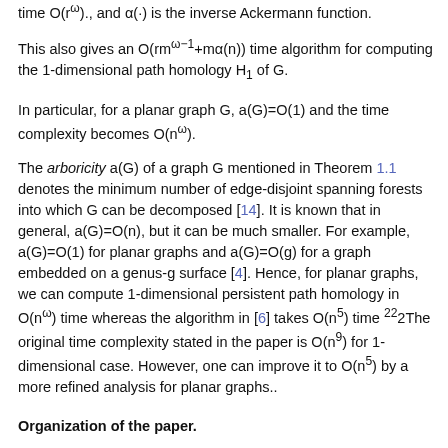time O(rω)., and α(·) is the inverse Ackermann function.
This also gives an O(rmω⁻¹+mα(n)) time algorithm for computing the 1-dimensional path homology H₁ of G.
In particular, for a planar graph G, a(G)=O(1) and the time complexity becomes O(nω).
The arboricity a(G) of a graph G mentioned in Theorem 1.1 denotes the minimum number of edge-disjoint spanning forests into which G can be decomposed [14]. It is known that in general, a(G)=O(n), but it can be much smaller. For example, a(G)=O(1) for planar graphs and a(G)=O(g) for a graph embedded on a genus-g surface [4]. Hence, for planar graphs, we can compute 1-dimensional persistent path homology in O(nω) time whereas the algorithm in [6] takes O(n⁵) time ²²2The original time complexity stated in the paper is O(n⁹) for 1-dimensional case. However, one can improve it to O(n⁵) by a more refined analysis for planar graphs..
Organization of the paper.